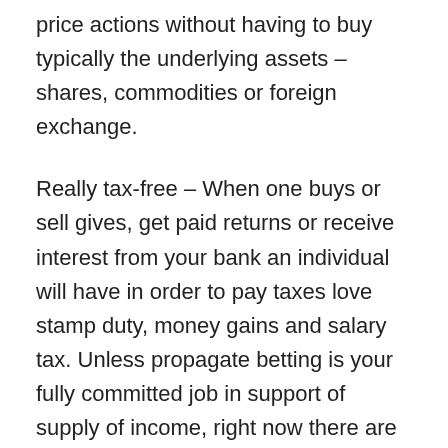price actions without having to buy typically the underlying assets – shares, commodities or foreign exchange.
Really tax-free – When one buys or sell gives, get paid returns or receive interest from your bank an individual will have in order to pay taxes love stamp duty, money gains and salary tax. Unless propagate betting is your fully committed job in support of supply of income, right now there are no taxes to be paid out as it's regarded as gambling.
You can easily go long or short – If you spread bet you can gain just as a lot whether prices increase or fall, providing you guess the direction correctly. Using most other assets, you need typically the price to go up just before you make a pro